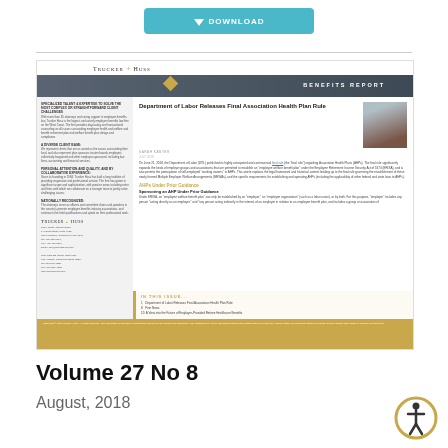[Figure (screenshot): Download button with teal background and arrow icon]
[Figure (screenshot): Preview of Trucker + Huss Benefits Report newsletter cover, Volume 27 No 8, August 2018, featuring article about Department of Labor Releases Final Association Health Plan Rule by Sarah Kanter]
Volume 27 No 8
August, 2018
[Figure (illustration): Accessibility icon - person in circle with gold border]